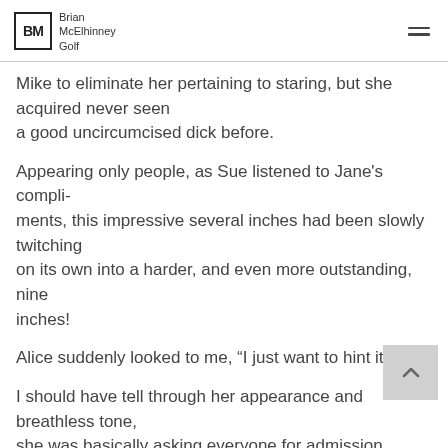Brian McElhinney Golf
Mike to eliminate her pertaining to staring, but she acquired never seen a good uncircumcised dick before.
Appearing only people, as Sue listened to Jane's compli-ments, this impressive several inches had been slowly twitching on its own into a harder, and even more outstanding, nine inches!
Alice suddenly looked to me, “I just want to hint it!
I should have tell through her appearance and breathless tone, she was basically asking everyone for admission